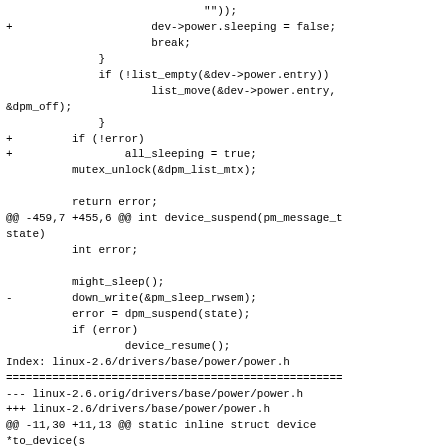Diff/patch code snippet from linux-2.6 kernel power management files showing changes to device suspend/resume logic and power.h header.